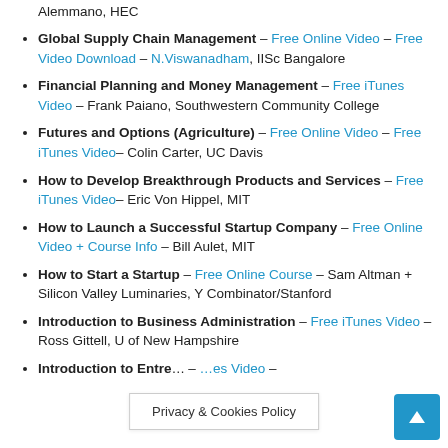Global Risk Regulation – Free iTunes Video – Alberto Alemmano, HEC
Global Supply Chain Management – Free Online Video – Free Video Download – N.Viswanadham, IISc Bangalore
Financial Planning and Money Management – Free iTunes Video – Frank Paiano, Southwestern Community College
Futures and Options (Agriculture) – Free Online Video – Free iTunes Video – Colin Carter, UC Davis
How to Develop Breakthrough Products and Services – Free iTunes Video – Eric Von Hippel, MIT
How to Launch a Successful Startup Company – Free Online Video + Course Info – Bill Aulet, MIT
How to Start a Startup – Free Online Course – Sam Altman + Silicon Valley Luminaries, Y Combinator/Stanford
Introduction to Business Administration – Free iTunes Video – Ross Gittell, U of New Hampshire
Introduction to Entre… – …iTunes Video –